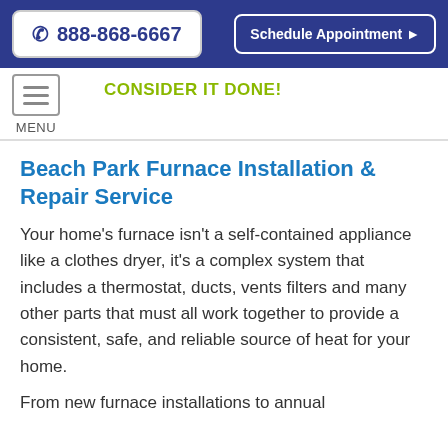☎ 888-868-6667  |  Schedule Appointment ▶
MENU  CONSIDER IT DONE!
Beach Park Furnace Installation & Repair Service
Your home's furnace isn't a self-contained appliance like a clothes dryer, it's a complex system that includes a thermostat, ducts, vents filters and many other parts that must all work together to provide a consistent, safe, and reliable source of heat for your home.
From new furnace installations to annual